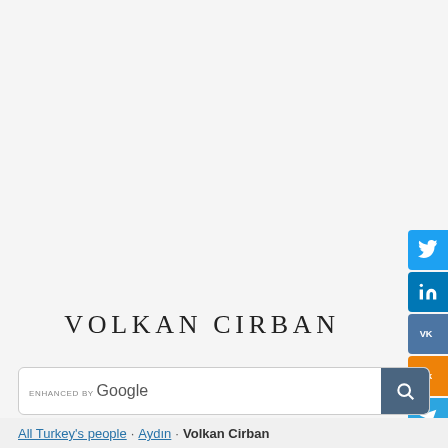[Figure (infographic): Social media share buttons sidebar on the right: Twitter (blue bird), LinkedIn (in), VK (VK), Odnoklassniki (ok, orange), Telegram (paper plane), Tumblr (t, dark)]
VOLKAN CIRBAN
[Figure (screenshot): Google custom search bar with 'ENHANCED BY Google' label and a search icon button]
All Turkey's people · Aydın · Volkan Cirban